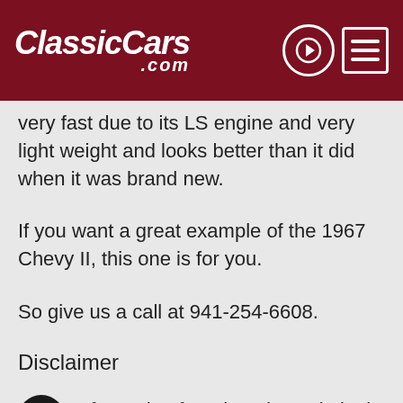ClassicCars.com
very fast due to its LS engine and very light weight and looks better than it did when it was brand new.
If you want a great example of the 1967 Chevy II, this one is for you.
So give us a call at 941-254-6608.
Disclaimer
Information found on the website is presented as given to us by the owner of the car, whether on consignment or from the owner we bought it from. Some Photos, materials for videos, descriptions and other information are provided by the consignor/seller and is deemed reliable, but Skyway Classics does not warranty or guarantee this information. Skyway Classics is not responsible for this information.